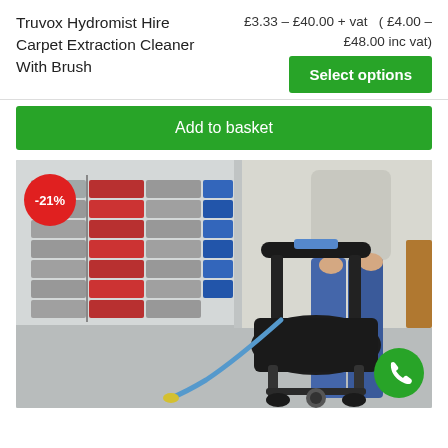Truvox Hydromist Hire Carpet Extraction Cleaner With Brush
£3.33 – £40.00 + vat  ( £4.00 – £48.00 inc vat)
Select options
Add to basket
[Figure (photo): Woman operating a Truvox Hydromist carpet extraction cleaner with brush in a warehouse setting with stacked plastic crates in background. A red -21% discount badge is shown top-left. A green phone button is in the bottom-right corner.]